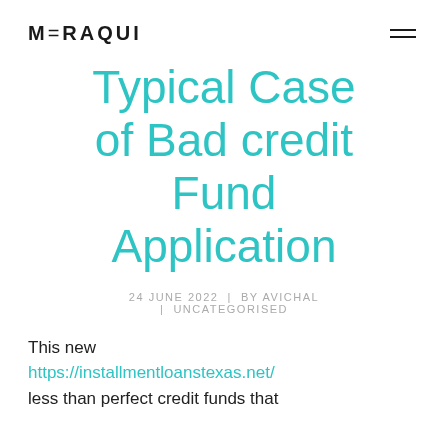MERAQUI
Typical Case of Bad credit Fund Application
24 JUNE 2022  |  BY AVICHAL  |  UNCATEGORISED
This new https://installmentloanstexas.net/ less than perfect credit funds that